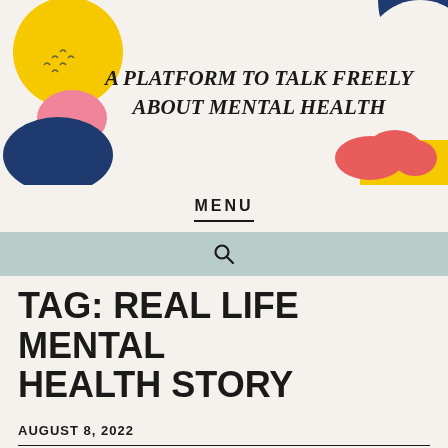[Figure (illustration): Colorful mental health blog banner with abstract shapes (yellow circle, pink shape, dark blue blob, red cloud, yellow rectangle, dark blue quarter circle) and italic bold text reading 'A PLATFORM TO TALK FREELY ABOUT MENTAL HEALTH']
MENU
🔍 (search icon)
TAG: REAL LIFE MENTAL HEALTH STORY
AUGUST 8, 2022
emmacdo
Leave a comment